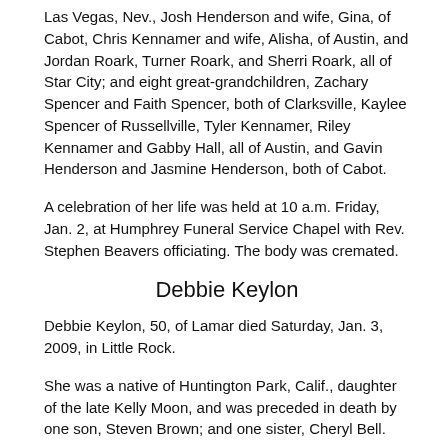Las Vegas, Nev., Josh Henderson and wife, Gina, of Cabot, Chris Kennamer and wife, Alisha, of Austin, and Jordan Roark, Turner Roark, and Sherri Roark, all of Star City; and eight great-grandchildren, Zachary Spencer and Faith Spencer, both of Clarksville, Kaylee Spencer of Russellville, Tyler Kennamer, Riley Kennamer and Gabby Hall, all of Austin, and Gavin Henderson and Jasmine Henderson, both of Cabot.
A celebration of her life was held at 10 a.m. Friday, Jan. 2, at Humphrey Funeral Service Chapel with Rev. Stephen Beavers officiating. The body was cremated.
Debbie Keylon
Debbie Keylon, 50, of Lamar died Saturday, Jan. 3, 2009, in Little Rock.
She was a native of Huntington Park, Calif., daughter of the late Kelly Moon, and was preceded in death by one son, Steven Brown; and one sister, Cheryl Bell.
Survivors include her husband, Frankie Keylon; one daughter,